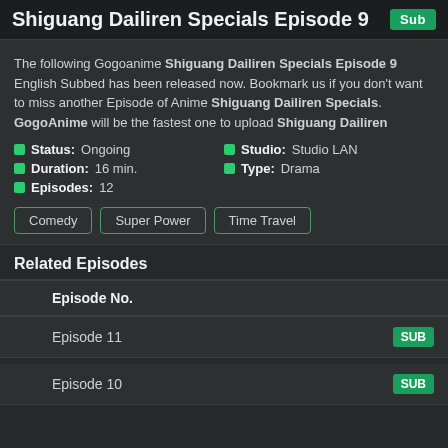Shiguang Dailiren Specials Episode 9
The following Gogoanime Shiguang Dailiren Specials Episode 9 English Subbed has been released now. Bookmark us if you don't want to miss another Episode of Anime Shiguang Dailiren Specials. GogoAnime will be the fastest one to upload Shiguang Dailiren
Status: Ongoing
Studio: Studio LAN
Duration: 16 min.
Type: Drama
Episodes: 12
Comedy  Super Power  Time Travel
Related Episodes
| Episode No. |
| --- |
| Episode 11 | SUB |
| Episode 10 | SUB |